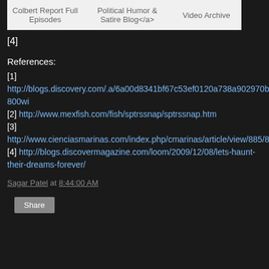[Figure (screenshot): Navigation bar with links: Colbert Report Full Episodes, Political Humor & Satire Blog</a>, Video Archive]
[4]
References:
[1] http://blogs.discovery.com/.a/6a00d8341bf67c53ef0120a738a902970b-800wi
[2] http://www.mexfish.com/fish/sptrssnap/sptrssnap.htm
[3] http://www.cienciasmarinas.com/index.php/cmarinas/article/view/885/807
[4] http://blogs.discovermagazine.com/loom/2009/12/08/lets-haunt-their-dreams-forever/
Sagar Patel at 8:44:00 AM
Share